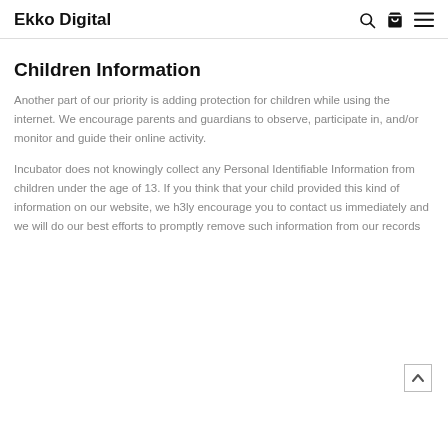Ekko Digital
Children Information
Another part of our priority is adding protection for children while using the internet. We encourage parents and guardians to observe, participate in, and/or monitor and guide their online activity.
Incubator does not knowingly collect any Personal Identifiable Information from children under the age of 13. If you think that your child provided this kind of information on our website, we h3ly encourage you to contact us immediately and we will do our best efforts to promptly remove such information from our records